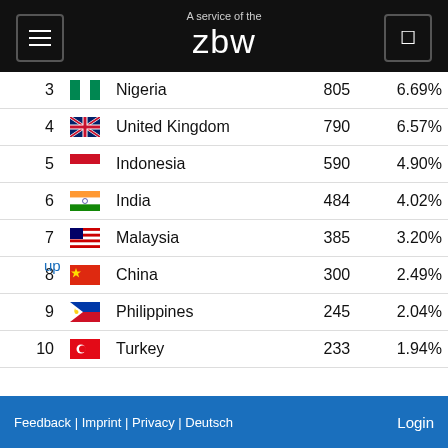A service of the zbw
| # | Flag | Country | Count | Percent |
| --- | --- | --- | --- | --- |
| 3 |  | Nigeria | 805 | 6.69% |
| 4 |  | United Kingdom | 790 | 6.57% |
| 5 |  | Indonesia | 590 | 4.90% |
| 6 |  | India | 484 | 4.02% |
| 7 |  | Malaysia | 385 | 3.20% |
| 8 |  | China | 300 | 2.49% |
| 9 |  | Philippines | 245 | 2.04% |
| 10 |  | Turkey | 233 | 1.94% |
|  |  | other countries | 5,478 | 45.53% |
up
Feedback | Imprint | Privacy | Deutsch    Login